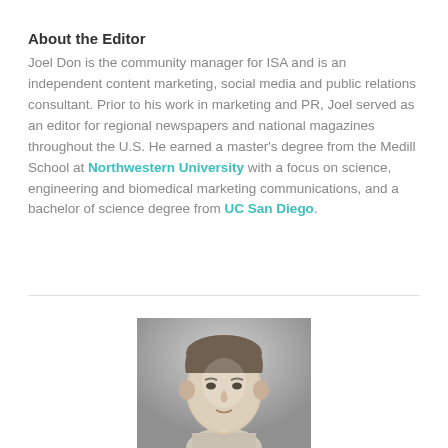About the Editor
Joel Don is the community manager for ISA and is an independent content marketing, social media and public relations consultant. Prior to his work in marketing and PR, Joel served as an editor for regional newspapers and national magazines throughout the U.S. He earned a master's degree from the Medill School at Northwestern University with a focus on science, engineering and biomedical marketing communications, and a bachelor of science degree from UC San Diego.
[Figure (photo): Headshot photo of Joel Don, a man with short hair, against a gray background]